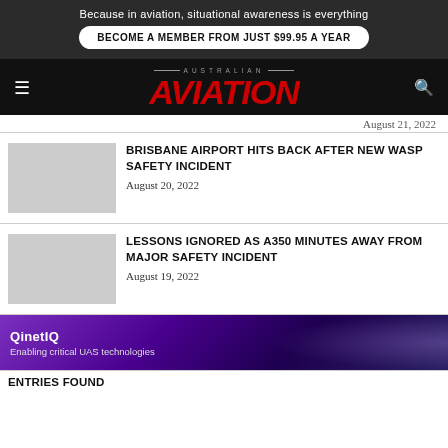Because in aviation, situational awareness is everything
BECOME A MEMBER FROM JUST $99.95 A YEAR
AUSTRALIAN AVIATION
August 21, 2022
BRISBANE AIRPORT HITS BACK AFTER NEW WASP SAFETY INCIDENT
August 20, 2022
LESSONS IGNORED AS A350 MINUTES AWAY FROM MAJOR SAFETY INCIDENT
August 19, 2022
[Figure (infographic): QinetIQ advertisement banner: purple/violet gradient background with text 'QinetIQ - Enabling critical UAS technologies']
ENTRIES FOUND